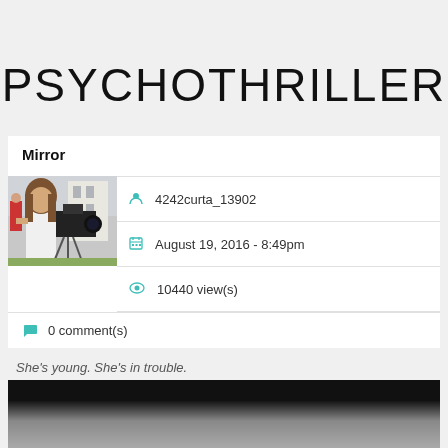PSYCHOTHRILLER
Mirror
[Figure (photo): Thumbnail photo of a young woman in a white shirt holding a video camera outdoors]
4242curta_13902
August 19, 2016 - 8:49pm
10440 view(s)
0 comment(s)
She's young. She's in trouble.
[Figure (photo): Partially visible image at bottom of page, dark at top transitioning to lighter tones]